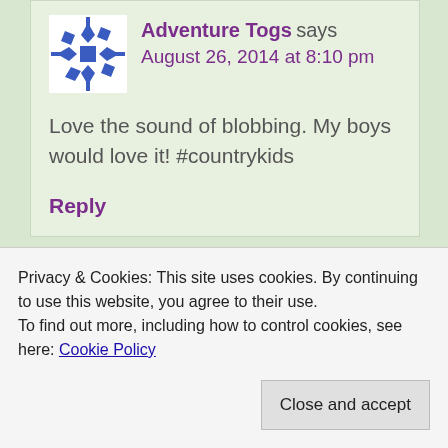Adventure Togs says August 26, 2014 at 8:10 pm
Love the sound of blobbing. My boys would love it! #countrykids
Reply
Privacy & Cookies: This site uses cookies. By continuing to use this website, you agree to their use.
To find out more, including how to control cookies, see here: Cookie Policy
Close and accept